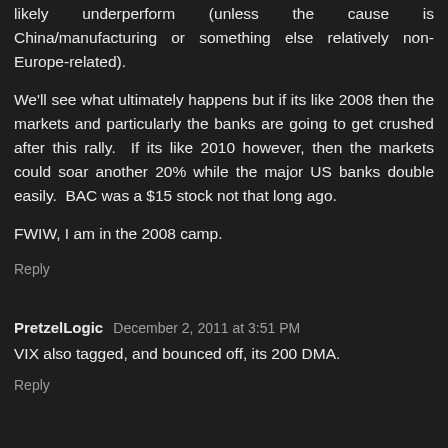banks will likely outperform and if we're down the banks will likely underperform (unless the cause is China/manufacturing or something else relatively non-Europe-related).
We'll see what ultimately happens but if its like 2008 then the markets and particularly the banks are going to get crushed after this rally.  If its like 2010 however, then the markets could soar another 20% while the major US banks double easily.  BAC was a $15 stock not that long ago.
FWIW, I am in the 2008 camp.
Reply
PretzelLogic  December 2, 2011 at 3:51 PM
VIX also tagged, and bounced off, its 200 DMA.
Reply
rob  December 2, 2011 at 3:55 PM